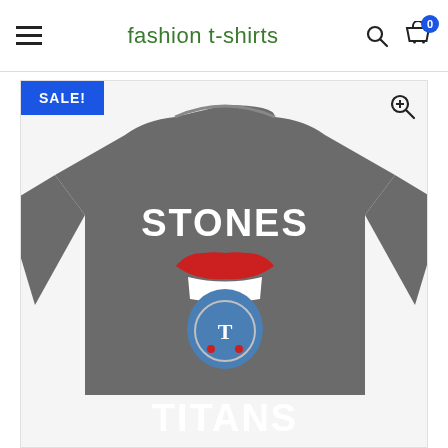fashion t-shirts
[Figure (photo): E-commerce product page screenshot showing a gray t-shirt with 'STONES TITANS' text and Rolling Stones-style lips logo incorporating Tennessee Titans branding. A 'SALE!' badge is in the top-left corner of the product image area.]